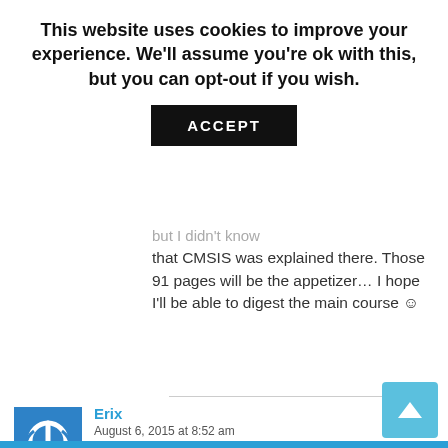This website uses cookies to improve your experience. We'll assume you're ok with this, but you can opt-out if you wish.
ACCEPT
but I didn't know that CMSIS was explained there. Those 91 pages will be the appetizer… I hope I'll be able to digest the main course ☺
Erix
August 6, 2015 at 8:52 am
I reported it and Liviu Ionescu promptly fixed the problem in updates-test: https://sourceforge.net/p/gnuarmeclips